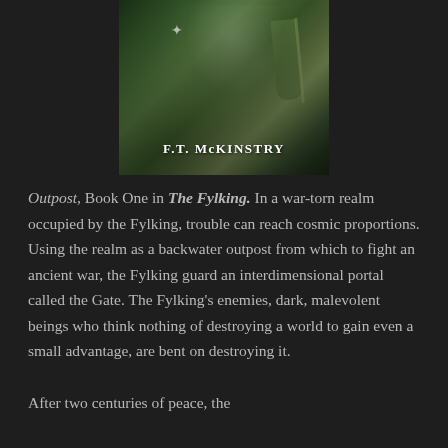[Figure (illustration): Book cover image for 'Outpost' by F.T. McKinstry from The Fylking series. Dark fantasy cover with green forest/nature tones, featuring a figure with flowing green hair. Author name 'F.T. McKINSTRY' displayed at bottom of cover.]
Outpost, Book One in The Fylking. In a war-torn realm occupied by the Fylking, trouble can reach cosmic proportions. Using the realm as a backwater outpost from which to fight an ancient war, the Fylking guard an interdimensional portal called the Gate. The Fylking's enemies, dark, malevolent beings who think nothing of destroying a world to gain even a small advantage, are bent on destroying it.
After two centuries of peace, the